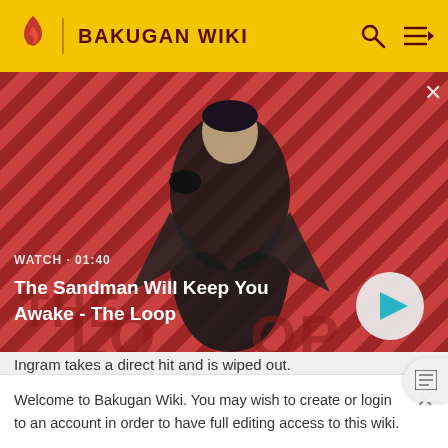BAKUGAN WIKI
[Figure (screenshot): Video thumbnail showing a dark-cloaked figure with a raven on his shoulder against a red and black diagonal striped background. Text overlay: WATCH · 01:40. Title: The Sandman Will Keep You Awake - The Loop. Play button visible bottom right.]
Ingram takes a direct hit and is wiped out.
Shun Life Force: 10%
Welcome to Bakugan Wiki. You may wish to create or login to an account in order to have full editing access to this wiki.